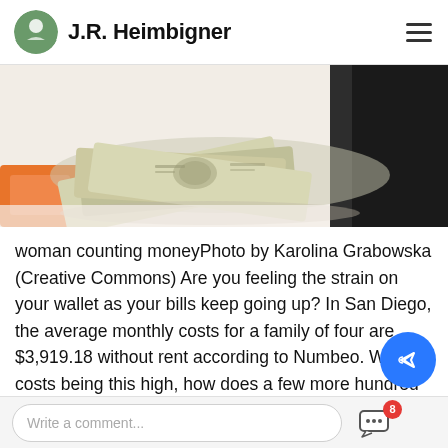J.R. Heimbigner
[Figure (photo): Fan of US dollar banknotes spread on a white surface next to a dark laptop, photographed from above at an angle.]
woman counting moneyPhoto by Karolina Grabowska (Creative Commons) Are you feeling the strain on your wallet as your bills keep going up? In San Diego, the average monthly costs for a family of four are $3,919.18 without rent according to Numbeo. With costs being this high, how does a few more hundred dollars (or even up to $1,250 per month for those who qualify) sound right now? That's exa